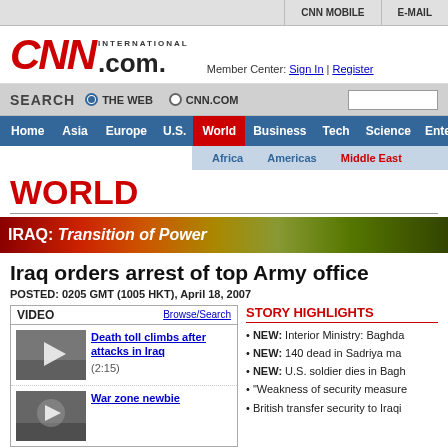CNN MOBILE   E-MAIL
[Figure (logo): CNN International .com logo]
Member Center: Sign In | Register
SEARCH  THE WEB  CNN.COM
Home  Asia  Europe  U.S.  World  Business  Tech  Science  Entertainment
Africa  Americas  Middle East
WORLD
[Figure (infographic): IRAQ: Transition of Power banner]
Iraq orders arrest of top Army office
POSTED: 0205 GMT (1005 HKT), April 18, 2007
VIDEO  Browse/Search
Death toll climbs after attacks in Iraq (2:15)
War zone newbie
STORY HIGHLIGHTS
NEW: Interior Ministry: Baghda...
NEW: 140 dead in Sadriya ma...
NEW: U.S. soldier dies in Bagh...
"Weakness of security measure...
British transfer security to Iraqi...